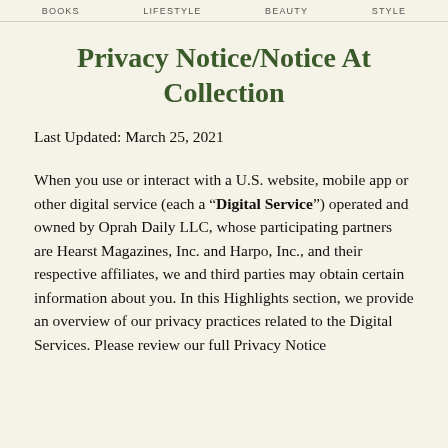BOOKS   LIFESTYLE   BEAUTY   STYLE
Privacy Notice/Notice At Collection
Last Updated: March 25, 2021
When you use or interact with a U.S. website, mobile app or other digital service (each a “Digital Service”) operated and owned by Oprah Daily LLC, whose participating partners are Hearst Magazines, Inc. and Harpo, Inc., and their respective affiliates, we and third parties may obtain certain information about you. In this Highlights section, we provide an overview of our privacy practices related to the Digital Services. Please review our full Privacy Notice